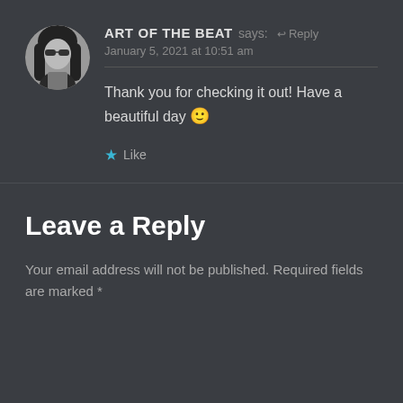[Figure (photo): Circular avatar photo of a person with dark hair and sunglasses, wearing dark clothing, black and white image]
ART OF THE BEAT says: ↩ Reply
January 5, 2021 at 10:51 am
Thank you for checking it out! Have a beautiful day 🙂
★ Like
Leave a Reply
Your email address will not be published. Required fields are marked *